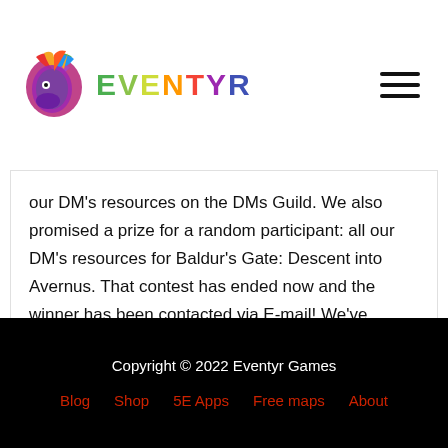EVENTYR
our DM’s resources on the DMs Guild. We also promised a prize for a random participant: all our DM’s resources for Baldur’s Gate: Descent into Avernus. That contest has ended now and the winner has been contacted via E-mail! We’ve received …
Read More »
← Previous Page    1    2
Copyright © 2022 Eventyr Games
Blog  Shop  5E Apps  Free maps  About